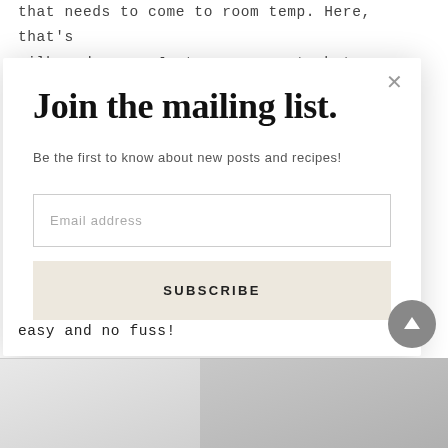that needs to come to room temp. Here, that's milk and eggs. Just measure out what you need and let them sit on the counter while you
[Figure (screenshot): Modal popup overlay with mailing list signup form on a food blog page]
Join the mailing list.
Be the first to know about new posts and recipes!
Email address
SUBSCRIBE
easy and no fuss!
[Figure (photo): Two photos at bottom of page showing baking ingredients/bowls, partially visible]